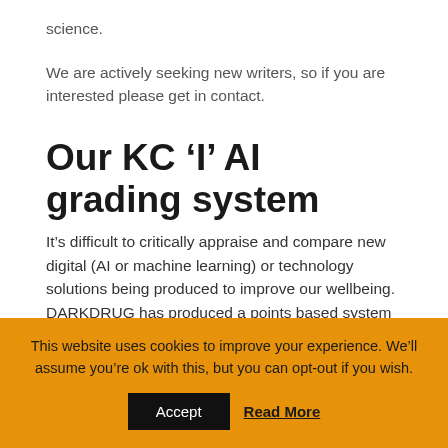science.
We are actively seeking new writers, so if you are interested please get in contact.
Our KC ‘I’ AI grading system
It’s difficult to critically appraise and compare new digital (AI or machine learning) or technology solutions being produced to improve our wellbeing. DARKDRUG has produced a points based system to quickly assess the potential wider societal impact of these new modern
This website uses cookies to improve your experience. We’ll assume you’re ok with this, but you can opt-out if you wish.